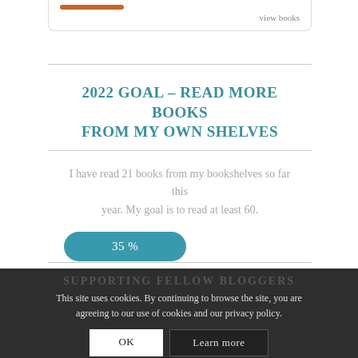view books
2022 GOAL – READ MORE BOOKS FROM MY OWN SHELVES
I have read 21 books from my bookshelves so far this year. My goal is to read at least 60.
35 %
SUPPORTING FELLOW BLOGGERS
This site uses cookies. By continuing to browse the site, you are agreeing to our use of cookies and our privacy policy.
OK
Learn more